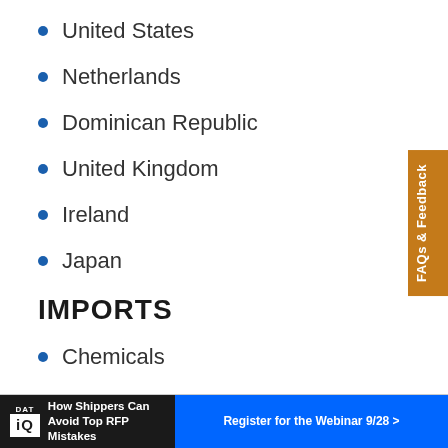United States
Netherlands
Dominican Republic
United Kingdom
Ireland
Japan
IMPORTS
Chemicals
Machinery and equipment
Clothing
[Figure (other): FAQs & Feedback vertical tab on right side]
[Figure (other): Bottom advertisement banner: DAT iQ - How Shippers Can Avoid Top RFP Mistakes - Register for the Webinar 9/28]